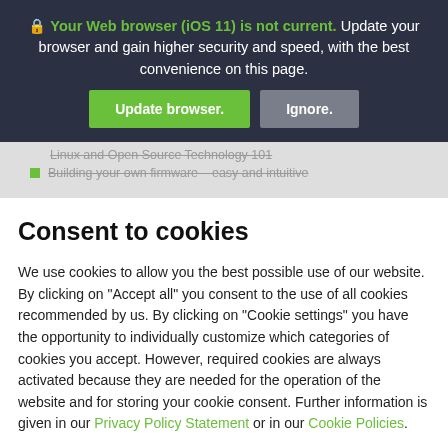🔒 Your Web browser (iOS 11) is not current. Update your browser and gain higher security and speed, with the best convenience on this page.
Update browser. | Ignore.
Linux and Open Source Technology 101
Building your own firmware – easy and intuitive
Consent to cookies
We use cookies to allow you the best possible use of our website. By clicking on "Accept all" you consent to the use of all cookies recommended by us. By clicking on "Cookie settings" you have the opportunity to individually customize which categories of cookies you accept. However, required cookies are always activated because they are needed for the operation of the website and for storing your cookie consent. Further information is given in our Privacy Policy Statement or in our Cookie Policies.